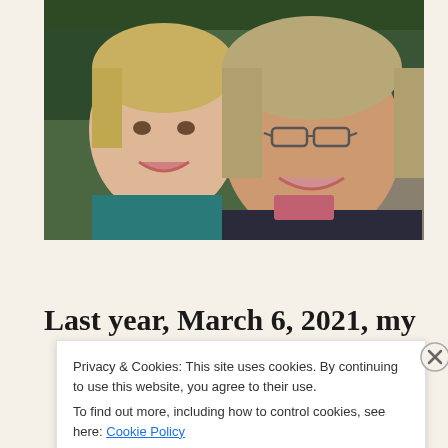[Figure (photo): Selfie of two smiling middle-aged women outdoors in front of a waterfall surrounded by green forest. The woman on the left has short blonde hair and a teal scarf. The woman on the right has shoulder-length grey-blonde hair, glasses, and a dark jacket with a pink scarf.]
Last year, March 6, 2021, my
Privacy & Cookies: This site uses cookies. By continuing to use this website, you agree to their use.
To find out more, including how to control cookies, see here: Cookie Policy
Close and accept
and on a budget.